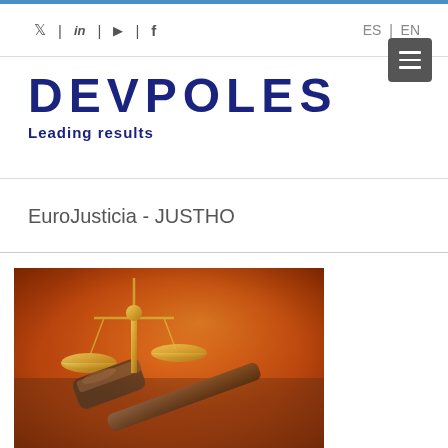Social icons: Twitter, LinkedIn, YouTube, Facebook | ES | EN | Menu button
DEVPOLES
Leading results
EuroJusticia - JUSTHO
[Figure (photo): Photo of a bronze justice scales and a wooden judge's gavel on a warm amber/orange background, symbolizing law and justice.]